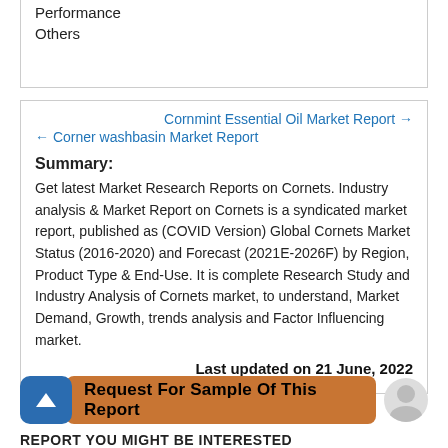Performance
Others
Cornmint Essential Oil Market Report →
← Corner washbasin Market Report
Summary:
Get latest Market Research Reports on Cornets. Industry analysis & Market Report on Cornets is a syndicated market report, published as (COVID Version) Global Cornets Market Status (2016-2020) and Forecast (2021E-2026F) by Region, Product Type & End-Use. It is complete Research Study and Industry Analysis of Cornets market, to understand, Market Demand, Growth, trends analysis and Factor Influencing market.
Last updated on 21 June, 2022
Request For Sample Of This Report
REPORT YOU MIGHT BE INTERESTED